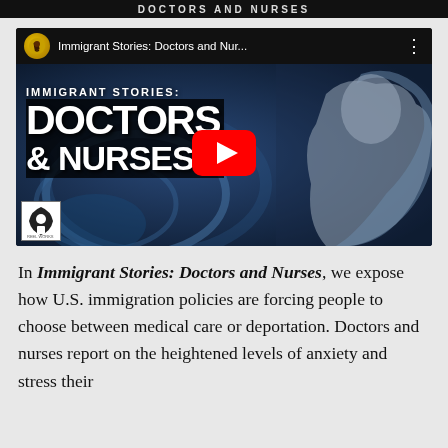DOCTORS AND NURSES
[Figure (screenshot): YouTube video thumbnail for 'Immigrant Stories: Doctors and Nur...' showing bold white text 'IMMIGRANT STORIES: DOCTORS & NURSES' over a blue-tinted background image with a child, with a YouTube play button in the center. Channel icon in top-left, three-dot menu in top-right. Small logo in bottom-left corner.]
In Immigrant Stories: Doctors and Nurses, we expose how U.S. immigration policies are forcing people to choose between medical care or deportation. Doctors and nurses report on the heightened levels of anxiety and stress their